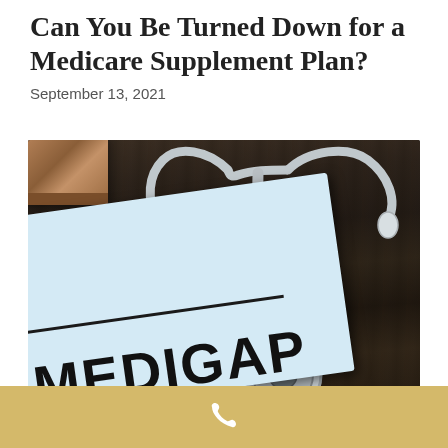Can You Be Turned Down for a Medicare Supplement Plan?
September 13, 2021
[Figure (photo): Photo of a light blue folder or document labeled MEDIGAP in bold black letters with a black underline, placed on a dark wood desk alongside a stethoscope, a pen, and a brown wallet in the background.]
Phone contact footer bar with phone icon